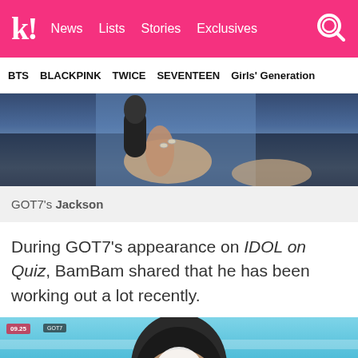k! News Lists Stories Exclusives
BTS BLACKPINK TWICE SEVENTEEN Girls' Generation
[Figure (photo): Cropped photo showing a hand holding a microphone against a dark background, wearing rings and denim jacket]
GOT7's Jackson
During GOT7's appearance on IDOL on Quiz, BamBam shared that he has been working out a lot recently.
[Figure (photo): Video thumbnail showing a person seated in front of a teal/blue background with a face mask, with a play button overlay. Small red badge showing show info in top left.]